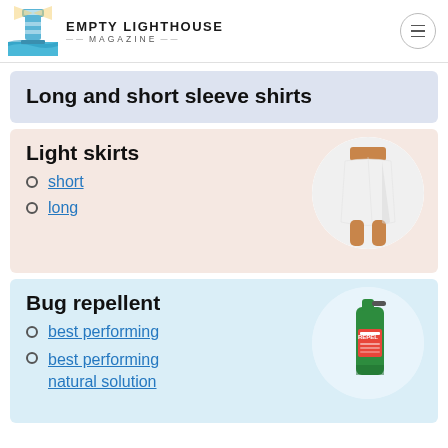Empty Lighthouse Magazine
Long and short sleeve shirts
Light skirts
short
long
[Figure (photo): White mini skirt on a person, circular crop]
Bug repellent
best performing
best performing natural solution
[Figure (photo): Green Repel bug spray bottle in circular crop]